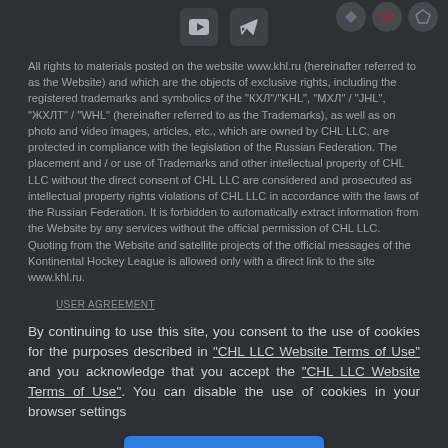[Figure (other): Social media icon buttons: YouTube and Telegram]
All rights to materials posted on the website www.khl.ru (hereinafter referred to as the Website) and which are the objects of exclusive rights, including the registered trademarks and symbolics of the "КХЛ"/"KHL", "МХЛ" / "JHL", "ЖХЛТ" / "WHL" (hereinafter referred to as the Trademarks), as well as on photo and video images, articles, etc., which are owned by CHL LLC, are protected in compliance with the legislation of the Russian Federation. The placement and / or use of Trademarks and other intellectual property of CHL LLC without the direct consent of CHL LLC are considered and prosecuted as intellectual property rights violations of CHL LLC in accordance with the laws of the Russian Federation. It is forbidden to automatically extract information from the Website by any services without the official permission of CHL LLC. Quoting from the Website and satellite projects of the official messages of the Kontinental Hockey League is allowed only with a direct link to the site www.khl.ru.
USER AGREEMENT
By continuing to use this site, you consent to the use of cookies for the purposes described in "CHL LLC Website Terms of Use" and you acknowledge that you accept the "CHL LLC Website Terms of Use". You can disable the use of cookies in your browser settings